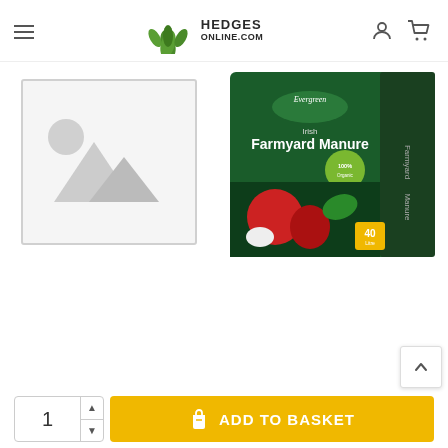[Figure (logo): Hedges Online logo with green leaves and text HEDGES ONLINE.COM]
[Figure (illustration): Placeholder image frame with mountain and sun icon]
[Figure (photo): Evergreen Irish Farmyard Manure 40L product bag with vegetables]
[Figure (other): Add to Basket button with quantity 1 input and shopping bag icon]